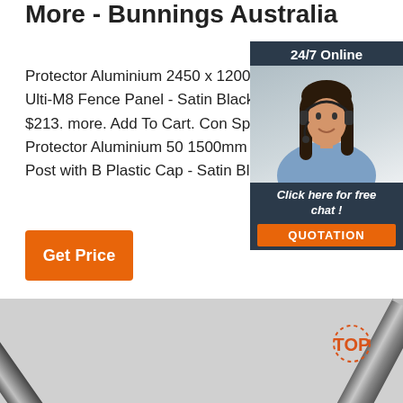More - Bunnings Australia
Protector Aluminium 2450 x 1200mm J Spear Top Ulti-M8 Fence Panel - Satin Black. (0) 10 colours. $213. more. Add To Cart. Con Special Order. Protector Aluminium 50 1500mm In-ground Fence Post with B Plastic Cap - Satin Black.
[Figure (photo): Customer service representative woman wearing headset with '24/7 Online' header and 'Click here for free chat!' and 'QUOTATION' button]
[Figure (photo): Close-up of metallic/aluminium fence posts or spear tips against grey background, with 'TOP' logo watermark in orange in the bottom right corner]